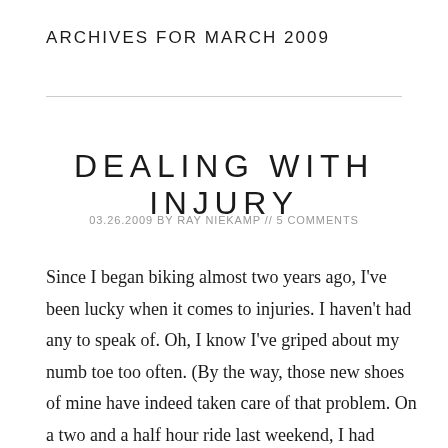ARCHIVES FOR MARCH 2009
DEALING WITH INJURY
03.26.2009 by RAY NIEKAMP // 5 COMMENTS
Since I began biking almost two years ago, I've been lucky when it comes to injuries.  I haven't had any to speak of.  Oh, I know I've griped about my numb toe too often.  (By the way, those new shoes of mine have indeed taken care of that problem.  On a two and a half hour ride last weekend, I had barely a twinge out of it.)  There was some soreness after my